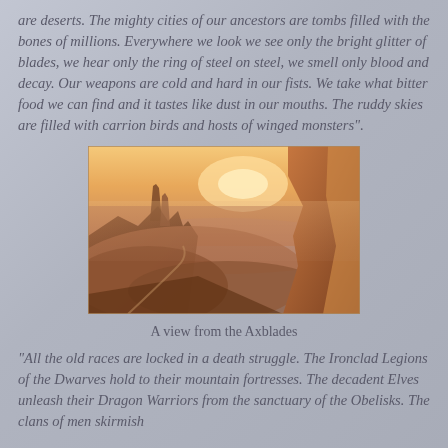are deserts. The mighty cities of our ancestors are tombs filled with the bones of millions. Everywhere we look we see only the bright glitter of blades, we hear only the ring of steel on steel, we smell only blood and decay. Our weapons are cold and hard in our fists. We take what bitter food we can find and it tastes like dust in our mouths. The ruddy skies are filled with carrion birds and hosts of winged monsters".
[Figure (photo): A wide landscape photograph showing a dramatic desert canyon scene at sunset or sunrise. Tall rock formations and mesas are visible in the background, with a vast valley stretching into the distance under a warm orange-golden sky. The foreground shows a cliff edge illuminated in golden light.]
A view from the Axblades
"All the old races are locked in a death struggle. The Ironclad Legions of the Dwarves hold to their mountain fortresses. The decadent Elves unleash their Dragon Warriors from the sanctuary of the Obelisks. The clans of men skirmish